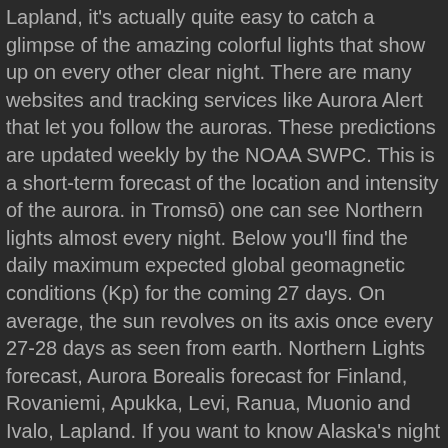Lapland, it's actually quite easy to catch a glimpse of the amazing colorful lights that show up on every other clear night. There are many websites and tracking services like Aurora Alert that let you follow the auroras. These predictions are updated weekly by the NOAA SWPC. This is a short-term forecast of the location and intensity of the aurora. in Tromsō) one can see Northern lights almost every night. Below you'll find the daily maximum expected global geomagnetic conditions (Kp) for the coming 27 days. On average, the sun revolves on its axis once every 27-28 days as seen from earth. Northern Lights forecast, Aurora Borealis forecast for Finland, Rovaniemi, Apukka, Levi, Ranua, Muonio and Ivalo, Lapland. If you want to know Alaska's night forecast from midnight to sunrise, when the aurora is often more active, you should look at the next day's forecast. This is the fastest way to quickly find out what kind of geomagnetic conditions are to be expected over the next 27 days. For around 200 nights per year, some regions of Finland witness the stunning natural phenomenon known as